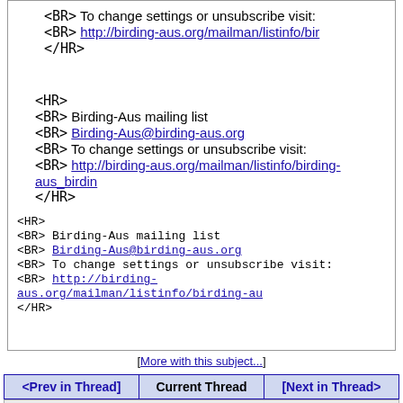<BR> To change settings or unsubscribe visit:
<BR> http://birding-aus.org/mailman/listinfo/bir
</HR>
<HR>
<BR> Birding-Aus mailing list
<BR> Birding-Aus@birding-aus.org
<BR> To change settings or unsubscribe visit:
<BR> http://birding-aus.org/mailman/listinfo/birding-aus_birdin...
</HR>
<HR>
<BR> Birding-Aus mailing list
<BR> Birding-Aus@birding-aus.org
<BR> To change settings or unsubscribe visit:
<BR> http://birding-aus.org/mailman/listinfo/birding-au
</HR>
[More with this subject...]
| <Prev in Thread> | Current Thread | [Next in Thread> |
| --- | --- | --- |
Land of the smokey bears, Geoffrey Dabb
Land of the smokey bears, Chris Corben
Land of the smokey bears, Philip Veerman
Land of the smokey bears, Chris